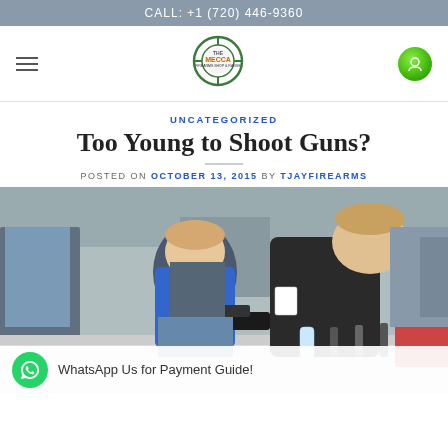CALL: +1 (720) 446-9360
[Figure (logo): The Mecca firearms shop logo — circular target/crosshair design with orange and green text]
UNCATEGORIZED
Too Young to Shoot Guns?
POSTED ON OCTOBER 13, 2015 BY TJAYFIREARMS
[Figure (photo): A young boy in a blue shirt handling a handgun at what appears to be a gun show or expo, with an adult leaning over to assist him. Other children and adults visible in the background along with several firearms on a table.]
WhatsApp Us for Payment Guide!